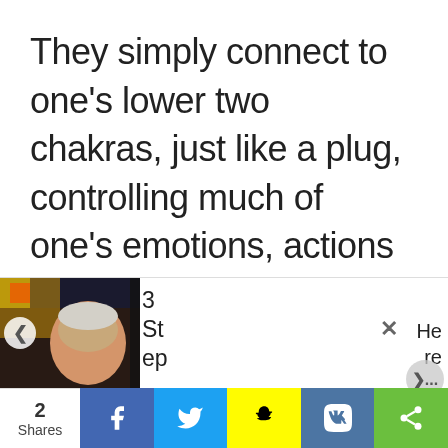They simply connect to one's lower two chakras, just like a plug, controlling much of one's emotions, actions and even thoughts, and at the same time feeding on the negativity generated by their hosts.
That's why they target the very
[Figure (photo): Thumbnail image of a person in a dark bar/casino setting with navigation arrows, showing '3 Steps' text overlay and close/here navigation]
2 Shares